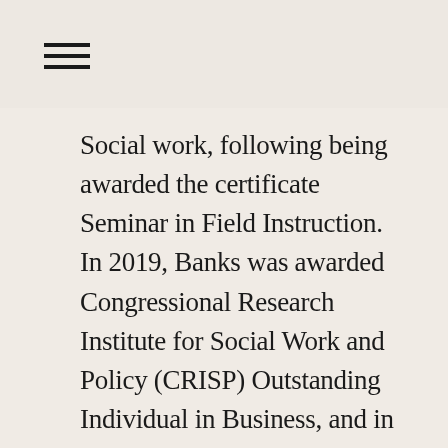☰
Social work, following being awarded the certificate Seminar in Field Instruction.  In 2019, Banks was awarded Congressional Research Institute for Social Work and Policy (CRISP) Outstanding Individual in Business, and in 2020–2022 she was elected Vice President and Chair of Diversity for the New York State Chapter of NASW.
I  will lead the charge to help social workers in NYS, and beyond live up